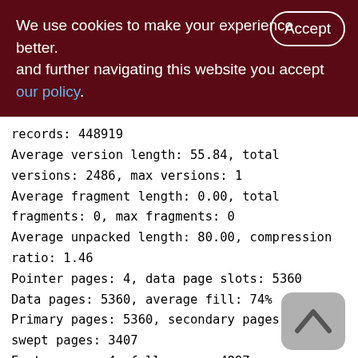We use cookies to make your experience better. By accepting and further navigating this website you accept our policy.
records: 448919
Average version length: 55.84, total versions: 2486, max versions: 1
Average fragment length: 0.00, total fragments: 0, max fragments: 0
Average unpacked length: 80.00, compression ratio: 1.46
Pointer pages: 4, data page slots: 5360
Data pages: 5360, average fill: 74%
Primary pages: 5360, secondary pages: 0, swept pages: 3407
Empty pages: 4, full pages: 4897